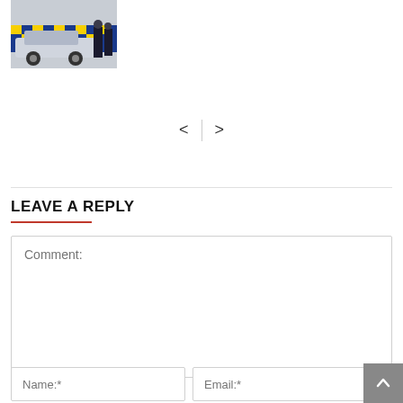[Figure (photo): Police car with checkered blue and yellow livery, two officers standing beside it]
< | >
LEAVE A REPLY
Comment:
Name:*
Email:*
Website: